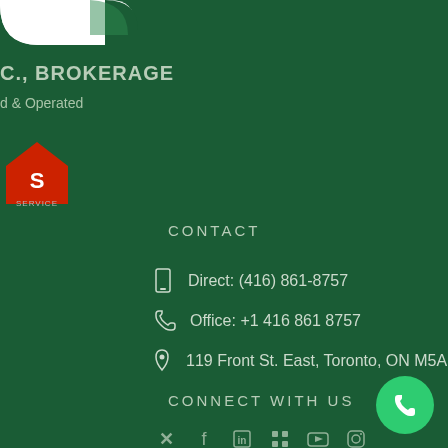[Figure (logo): White corner logo with green arc, partially visible at top-left]
C., BROKERAGE
d & Operated
[Figure (logo): MLS red house logo with text 'SERVICE']
CONTACT
Direct: (416) 861-8757
Office: +1 416 861 8757
119 Front St. East, Toronto, ON M5A 4
CONNECT WITH US
[Figure (illustration): Green circular phone call button at bottom right]
[Figure (illustration): Social media icons row at bottom]